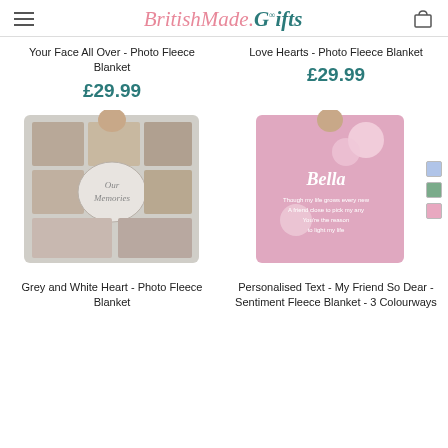BritishMade.Gifts
Your Face All Over - Photo Fleece Blanket
£29.99
Love Hearts - Photo Fleece Blanket
£29.99
[Figure (photo): Grey photo collage fleece blanket with heart 'Our Memories' design held up by a person]
[Figure (photo): Pink personalised fleece blanket with floral design and name 'Bella' held up by a person, with blue, green and pink colour swatches]
Grey and White Heart - Photo Fleece Blanket
Personalised Text - My Friend So Dear - Sentiment Fleece Blanket - 3 Colourways